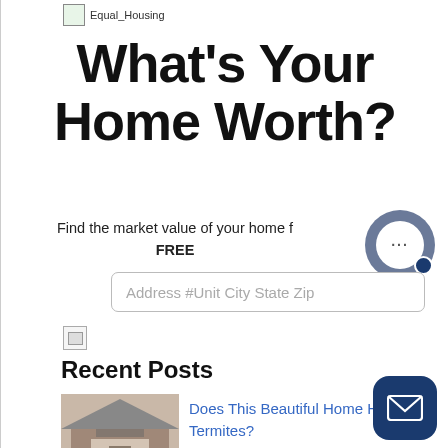[Figure (logo): Equal Housing logo image with broken image placeholder and text 'Equal_Housing']
What's Your Home Worth?
Find the market value of your home for FREE
[Figure (other): Address input field with placeholder text: Address #Unit City State Zip]
[Figure (other): Chat bubble widget with three dots, dark blue accent dot]
[Figure (other): Broken image placeholder icon]
Recent Posts
[Figure (photo): Interior home photo showing living room with fireplace]
Does This Beautiful Home Have Termites?
[Figure (photo): Exterior home photo with trees and sky]
Enhance Your Property to Sell FAST!
[Figure (other): Mail/envelope button in dark blue rounded rectangle]